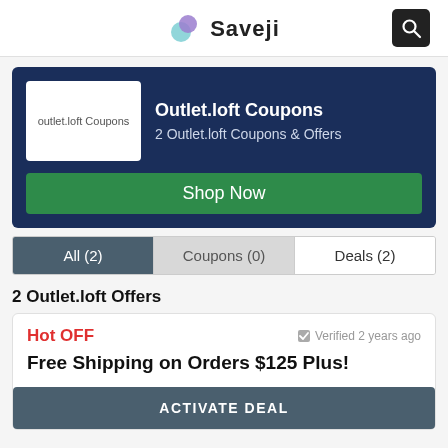Saveji
[Figure (infographic): Outlet.loft Coupons banner with logo image placeholder, title, subtitle, and Shop Now button]
All (2) | Coupons (0) | Deals (2)
2 Outlet.loft Offers
Hot OFF  Verified 2 years ago
Free Shipping on Orders $125 Plus!
ACTIVATE DEAL